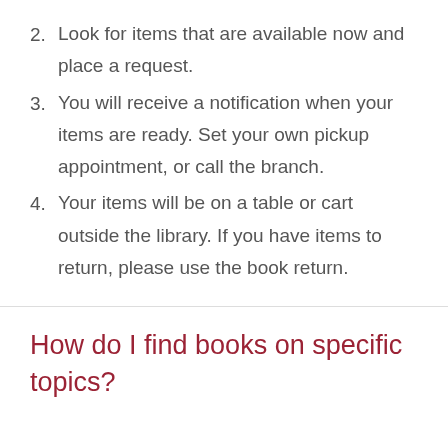2. Look for items that are available now and place a request.
3. You will receive a notification when your items are ready. Set your own pickup appointment, or call the branch.
4. Your items will be on a table or cart outside the library. If you have items to return, please use the book return.
How do I find books on specific topics?